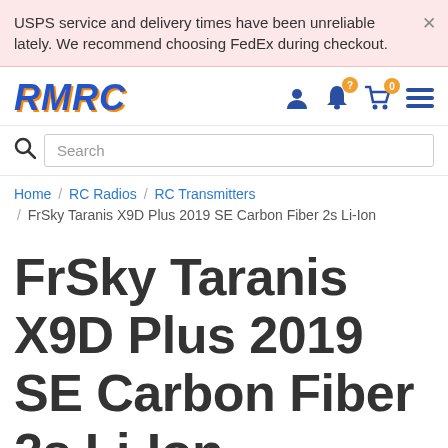USPS service and delivery times have been unreliable lately. We recommend choosing FedEx during checkout.
RMRC
Search
Home / RC Radios / RC Transmitters / FrSky Taranis X9D Plus 2019 SE Carbon Fiber 2s Li-Ion
FrSky Taranis X9D Plus 2019 SE Carbon Fiber 2s Li-Ion